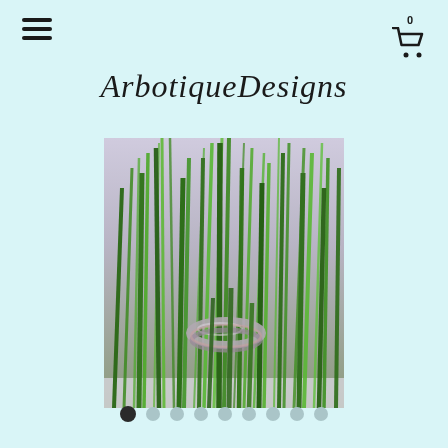[Figure (other): Hamburger menu icon (three horizontal lines)]
[Figure (other): Shopping cart icon with badge showing 0]
ArbotiqueDesigns
[Figure (photo): A silver ring resting among tall green grass blades, photographed up close with a blurred background]
[Figure (other): Carousel dot indicators — 9 dots, first one filled/active, rest grey]